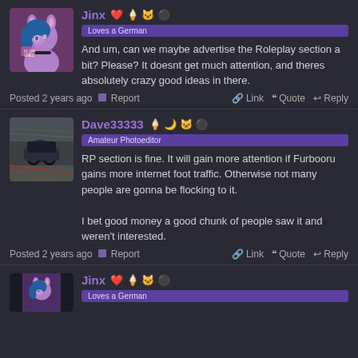[Figure (illustration): Avatar of user Jinx - purple anthro character with dark blue hair and pink bow]
Jinx
Loves a German
And um, can we maybe advertise the Roleplay section a bit? Please? It doesnt get much attention, and theres absolutely crazy good ideas in there.
Posted 2 years ago  Report  Link  Quote  Reply
[Figure (photo): Avatar of user Dave33333 - blurry racing scene photo]
Dave33333
Amateur Photoeditor
RP section is fine. It will gain more attention if Furbooru gains more internet foot traffic. Otherwise not many people are gonna be flocking to it.

I bet good money a good chunk of people saw it and weren't interested.
Posted 2 years ago  Report  Link  Quote  Reply
[Figure (illustration): Avatar of user Jinx - purple anthro character (partial, cropped)]
Jinx
Loves a German